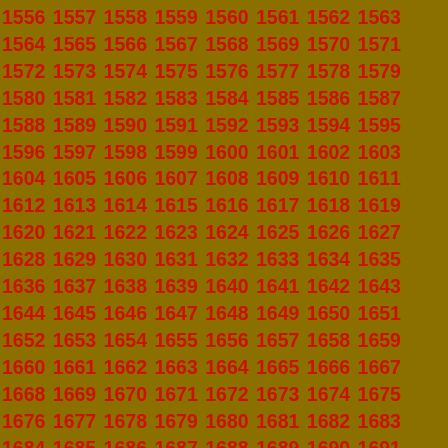1556 1557 1558 1559 1560 1561 1562 1563 1564 1565 1566 1567 1568 1569 1570 1571 1572 1573 1574 1575 1576 1577 1578 1579 1580 1581 1582 1583 1584 1585 1586 1587 1588 1589 1590 1591 1592 1593 1594 1595 1596 1597 1598 1599 1600 1601 1602 1603 1604 1605 1606 1607 1608 1609 1610 1611 1612 1613 1614 1615 1616 1617 1618 1619 1620 1621 1622 1623 1624 1625 1626 1627 1628 1629 1630 1631 1632 1633 1634 1635 1636 1637 1638 1639 1640 1641 1642 1643 1644 1645 1646 1647 1648 1649 1650 1651 1652 1653 1654 1655 1656 1657 1658 1659 1660 1661 1662 1663 1664 1665 1666 1667 1668 1669 1670 1671 1672 1673 1674 1675 1676 1677 1678 1679 1680 1681 1682 1683 1684 1685 1686 1687 1688 1689 1690 1691 1692 1693 1694 1695 1696 1697 1698 1699 1700 1701 1702 1703 1704 1705 1706 1707 1708 1709 1710 1711 1712 1713 1714 1715 1716 1717 1718 1719 1720 1721 1722 1723 1724 1725 1726 1727 1728 1729 1730 1731 1732 1733 1734 1735 1736 1737 1738 1739 1740 1741 1742 1743 1744 1745 1746 1747 1748 1749 1750 1751 1752 1753 1754 1755 1756 1757 1758 1759 1760 1761 1762 1763 1764 1765 1766 1767 1768 1769 1770 1771 1772 1773 1774 1775 1776 1777 1778 1779 1780 1781 1782 1783 1784 1785 1786 1787 1788 1789 1790 1791 1792 1793 1794 1795 1796 1797 1798 1799 1800 1801 1802 1803 1804 1805 1806 1807 1808 1809 1810 1811 1812 1813 1814 1815 1816 1817 1818 1819 1820 1821 1822 1823 1824 1825 1826 1827 1828 1829 1830 1831 1832 1833 1834 1835 1836 1837 1838 1839 1840 1841 1842 1843 1844 1845 1846 1847 1848 1849 1850 1851 1852 1853 1854 1855 1856 1857 1858 1859 1860 1861 1862 1863 1864 1865 1866 1867 1868 1869 1870 1871 1872 1873 1874 1875 1876 1877 1878 1879 1880 1881 1882 1883 1884 1885 1886 1887 1888 1889 1890 1891 1892 1893 1894 1895 1896 1897 1898 1899 1900 1901 1902 1903 1904 1905 1906 1907